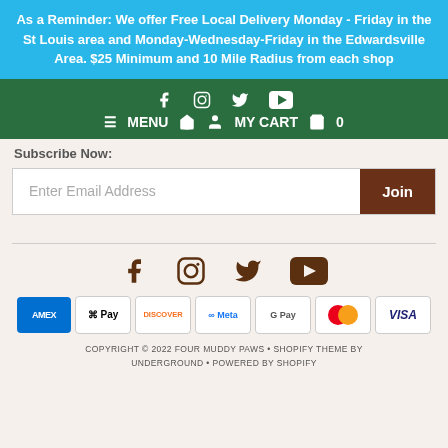As a Reminder: We offer Free Local Delivery Monday - Friday in the St Louis area and Monday-Wednesday-Friday in the Edwardsville Area. $25 Minimum and 10 Mile Radius from each shop
[Figure (screenshot): Green navigation bar with social media icons (Facebook, Instagram, Twitter, YouTube) and navigation links: MENU, home icon, account icon, MY CART, cart icon, 0]
Subscribe Now:
[Figure (screenshot): Email subscription form with 'Enter Email Address' placeholder and 'Join' button]
[Figure (screenshot): Footer social media icons: Facebook, Instagram, Twitter, YouTube in brown color]
[Figure (screenshot): Payment method icons: AMEX, Apple Pay, Discover, Meta, Google Pay, Mastercard, Visa]
COPYRIGHT © 2022 FOUR MUDDY PAWS • SHOPIFY THEME BY UNDERGROUND • POWERED BY SHOPIFY